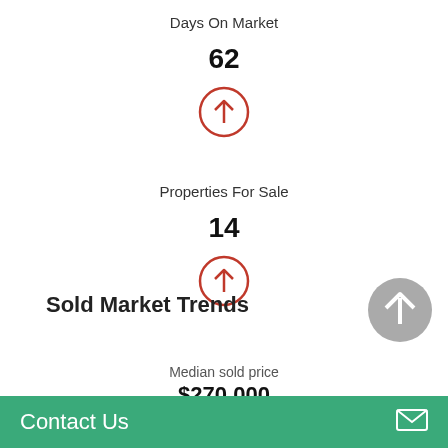Days On Market
62
[Figure (other): Red circle with upward arrow icon indicating increase]
Properties For Sale
14
[Figure (other): Red circle with upward arrow icon indicating increase]
Sold Market Trends
[Figure (other): Gray circle with upward arrow icon]
Median sold price
$270,000
Contact Us